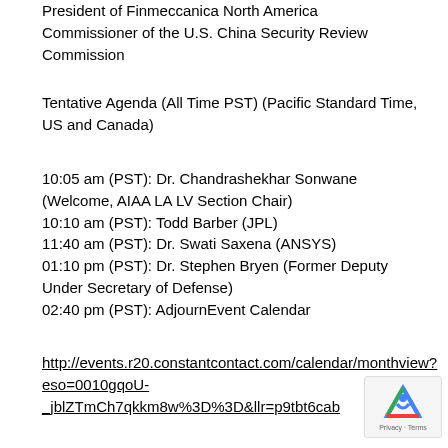President of Finmeccanica North America
Commissioner of the U.S. China Security Review Commission
Tentative Agenda (All Time PST) (Pacific Standard Time, US and Canada)
10:05 am (PST): Dr. Chandrashekhar Sonwane (Welcome, AIAA LA LV Section Chair)
10:10 am (PST): Todd Barber (JPL)
11:40 am (PST): Dr. Swati Saxena (ANSYS)
01:10 pm (PST): Dr. Stephen Bryen (Former Deputy Under Secretary of Defense)
02:40 pm (PST): AdjournEvent Calendar
http://events.r20.constantcontact.com/calendar/monthview?eso=0010gqoU-_jblZTmCh7qkkm8w%3D%3D&llr=p9tbt6cab